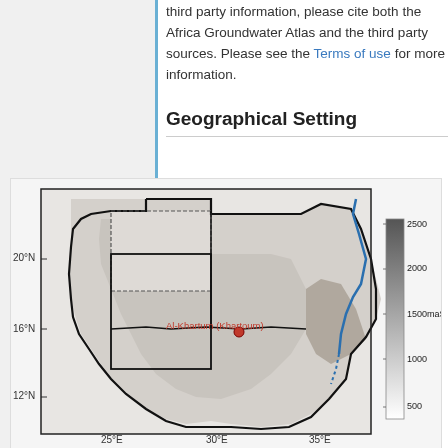third party information, please cite both the Africa Groundwater Atlas and the third party sources. Please see the Terms of use for more information.
Geographical Setting
[Figure (map): Map of Sudan showing topographic elevation with a grayscale color scale from 0 to 2500 maSL. Features include country border (thick black line), internal region borders, a blue river (Nile) along the eastern edge, a red dot marking Al-Khartum (Khartoum) at approximately 16°N, latitude labels at 20°N, 16°N, 12°N on the left axis, and a legend bar on the right showing 500, 1000, 1500maSL, 2000, 2500 elevation values.]